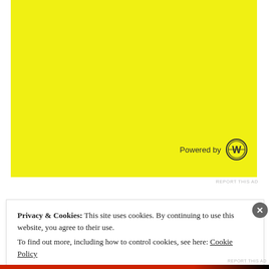[Figure (other): Yellow advertisement block with 'Powered by WordPress' logo in bottom right corner]
REPORT THIS AD
Privacy & Cookies:  This site uses cookies. By continuing to use this website, you agree to their use.
To find out more, including how to control cookies, see here: Cookie Policy
Close and accept
REPORT THIS AD